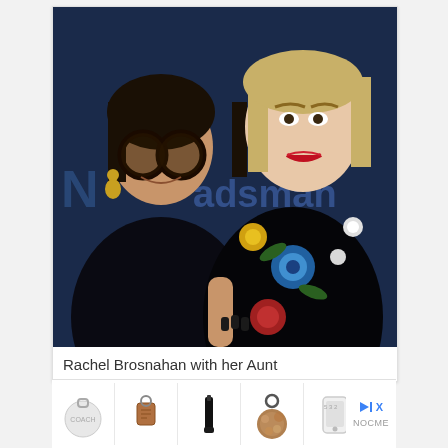[Figure (photo): Two women posing together at an event with a dark blue background and partial text 'adsman' visible. The woman on the left has dark hair, large round glasses, gold earrings, and a black fur coat. The woman on the right is blonde, wearing a black floral embroidered dress with red, blue, yellow, and white flowers.]
Rachel Brosnahan with her Aunt
[Figure (other): Advertisement bar showing five small product thumbnail images (white round bag, brown leather tag, black cosmetic item, brown fur pom-pom keychain, white phone case) with skip/close controls and NOCME label on the right.]